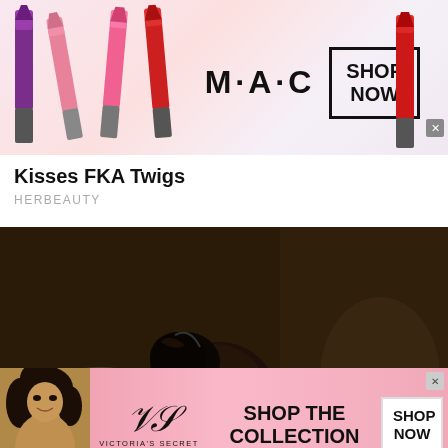[Figure (photo): MAC cosmetics advertisement banner showing colorful lipsticks (purple, pink, red) with MAC logo and SHOP NOW button in a bordered box]
Kisses FKA Twigs
HERBEAUTY
[Figure (photo): A burned/damaged dark baby doll being held by a person's hand, with a bowl of broccoli in the background — appears to be a still from an FKA Twigs music video]
[Figure (photo): Victoria's Secret advertisement banner with a woman, the VS logo, SHOP THE COLLECTION text, and a SHOP NOW button]